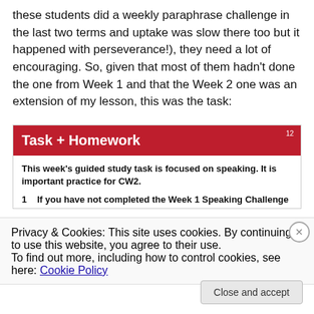these students did a weekly paraphrase challenge in the last two terms and uptake was slow there too but it happened with perseverance!), they need a lot of encouraging. So, given that most of them hadn't done the one from Week 1 and that the Week 2 one was an extension of my lesson, this was the task:
Task + Homework
This week's guided study task is focused on speaking. It is important practice for CW2.
1   If you have not completed the Week 1 Speaking Challenge
Privacy & Cookies: This site uses cookies. By continuing to use this website, you agree to their use.
To find out more, including how to control cookies, see here: Cookie Policy